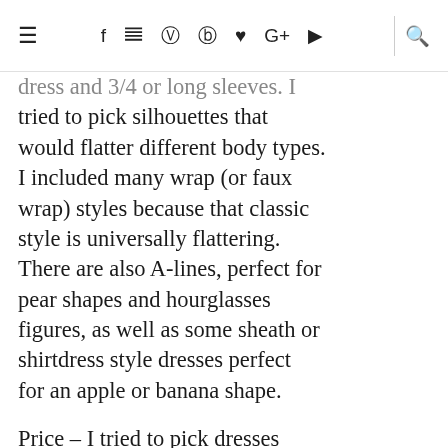≡  f  𝕩  ⓘ  𝕡  ♥  G+  ▶  |  🔍
dress and 3/4 or long sleeves. I tried to pick silhouettes that would flatter different body types. I included many wrap (or faux wrap) styles because that classic style is universally flattering. There are also A-lines, perfect for pear shapes and hourglasses figures, as well as some sheath or shirtdress style dresses perfect for an apple or banana shape.

Price – I tried to pick dresses under $150, but a few higher priced ones did slip in there!
Share to keep Browsing